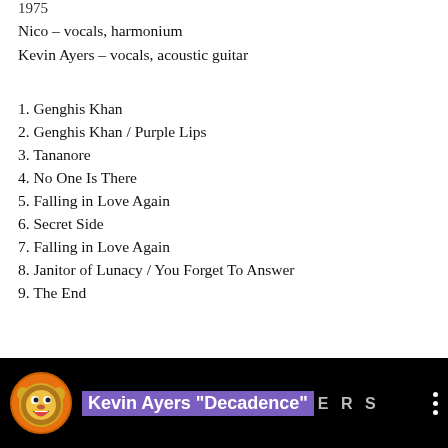1975
Nico – vocals, harmonium
Kevin Ayers – vocals, acoustic guitar
1. Genghis Khan
2. Genghis Khan / Purple Lips
3. Tananore
4. No One Is There
5. Falling in Love Again
6. Secret Side
7. Falling in Love Again
8. Janitor of Lunacy / You Forget To Answer
9. The End
[Figure (screenshot): YouTube video thumbnail showing Kevin Ayers Decadence with a cartoon lion icon in an orange circle on black background]